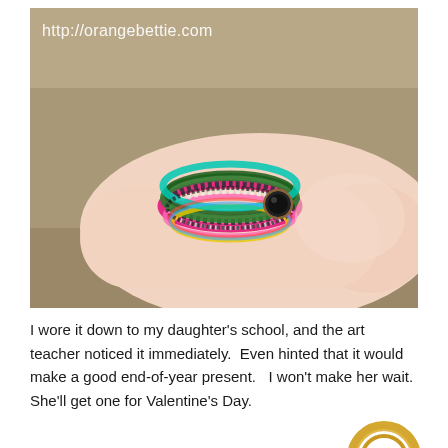[Figure (photo): A photo of a wrist wearing multiple colorful wrap bracelets — pink, green, black/white, yellow, teal, with a black stone button clasp. The background is sandy/concrete. A watermark URL 'http://orangebettie.com' appears in white text in the upper left of the photo.]
I wore it down to my daughter's school, and the art teacher noticed it immediately.  Even hinted that it would make a good end-of-year present.   I won't make her wait.  She'll get one for Valentine's Day.